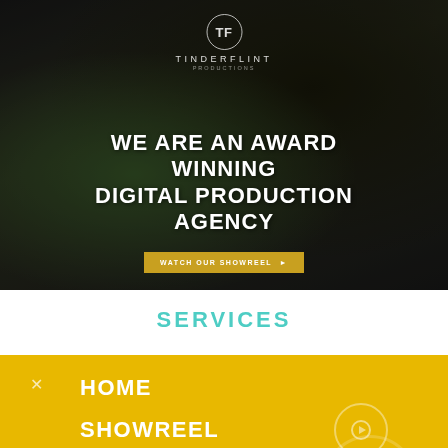[Figure (screenshot): Hero section of Tinderflint digital production agency website. Dark background showing a cooking pan/wok with food. Tinderflint logo (TF in circle) at top center with company name below.]
WE ARE AN AWARD WINNING DIGITAL PRODUCTION AGENCY
WATCH OUR SHOWREEL ▶
SERVICES
HOME
SHOWREEL
CASE STUDIES
ABOUT US
CLIENTS